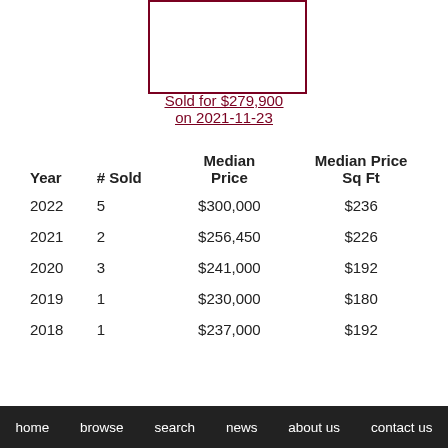[Figure (photo): Property photo placeholder with dark red border]
Sold for $279,900 on 2021-11-23
| Year | # Sold | Median Price | Median Price Sq Ft |
| --- | --- | --- | --- |
| 2022 | 5 | $300,000 | $236 |
| 2021 | 2 | $256,450 | $226 |
| 2020 | 3 | $241,000 | $192 |
| 2019 | 1 | $230,000 | $180 |
| 2018 | 1 | $237,000 | $192 |
home  browse  search  news  about us  contact us